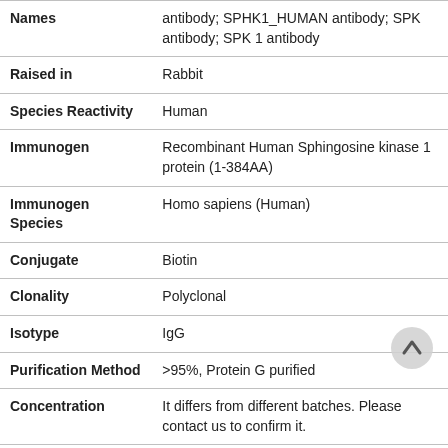| Field | Value |
| --- | --- |
| Names | antibody; SPHK1_HUMAN antibody; SPK antibody; SPK 1 antibody |
| Raised in | Rabbit |
| Species Reactivity | Human |
| Immunogen | Recombinant Human Sphingosine kinase 1 protein (1-384AA) |
| Immunogen Species | Homo sapiens (Human) |
| Conjugate | Biotin |
| Clonality | Polyclonal |
| Isotype | IgG |
| Purification Method | >95%, Protein G purified |
| Concentration | It differs from different batches. Please contact us to confirm it. |
| Preservation | 0.03% Proclin 300... |